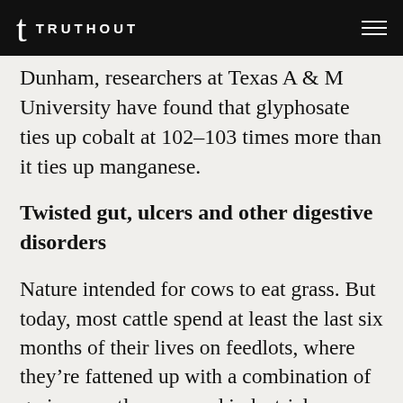t TRUTHOUT
Dunham, researchers at Texas A & M University have found that glyphosate ties up cobalt at 102–103 times more than it ties up manganese.
Twisted gut, ulcers and other digestive disorders
Nature intended for cows to eat grass. But today, most cattle spend at least the last six months of their lives on feedlots, where they're fattened up with a combination of grains, mostly corn, and industrial byproducts including corn distiller, a